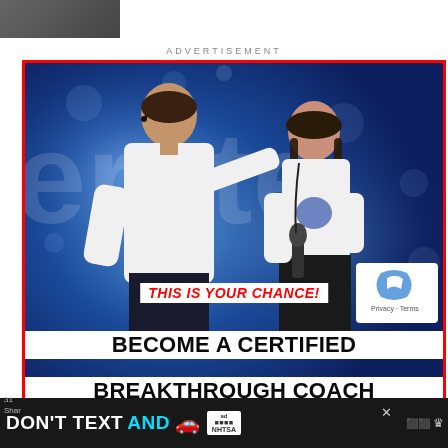[Figure (photo): Small thumbnail image at top left, partially cropped]
ADVERTISEMENT
[Figure (photo): Advertisement image with red border showing two people on a stage with blue bokeh background. A man in white shirt with headset microphone and a woman in white t-shirt holding a microphone. Text overlay: 'THIS IS YOUR CHANCE! BECOME A CERTIFIED BREAKTHROUGH COACH'. reCAPTCHA badge visible bottom right with Privacy - Terms text.]
THIS IS YOUR CHANCE!
BECOME A CERTIFIED BREAKTHROUGH COACH
[Figure (infographic): Bottom dark bar advertisement: DON'T TEXT AND [car emoji] with ad badge and NHTSA logo, close X button, and media icons on right]